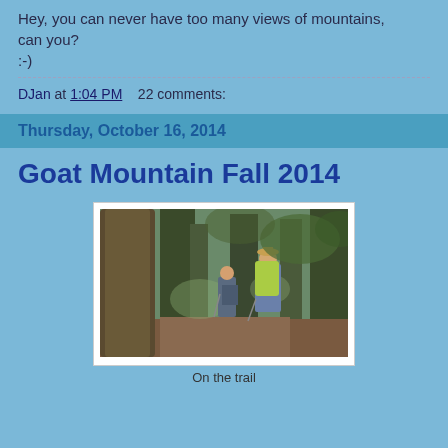Hey, you can never have too many views of mountains, can you?
:-)
DJan at 1:04 PM    22 comments:
Thursday, October 16, 2014
Goat Mountain Fall 2014
[Figure (photo): Two hikers with backpacks and trekking poles on a forested trail surrounded by tall conifers]
On the trail